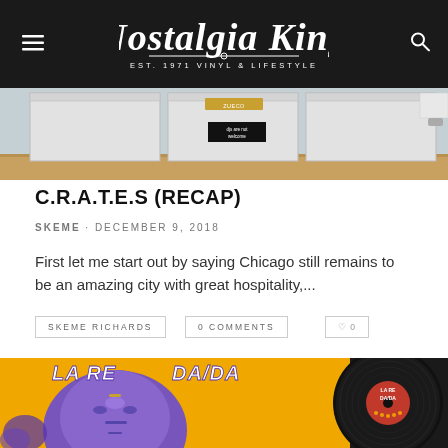Nostalgia King — EST. 1971 VINYL & LIFESTYLE
[Figure (photo): Photo of white vinyl crates on a wooden surface with a black sticker on one crate reading text, taken from above at an angle]
C.R.A.T.E.S (RECAP)
SKEME · DECEMBER 9, 2018
First let me start out by saying Chicago still remains to be an amazing city with great hospitality,...
SKEME RICHARDS
0 COMMENTS
♡ 0
[Figure (photo): Album cover with yellow background showing a purple illustrated face with tribal markings, text reading LA RE and DA/DA, alongside a vinyl record with red label showing the same album info]